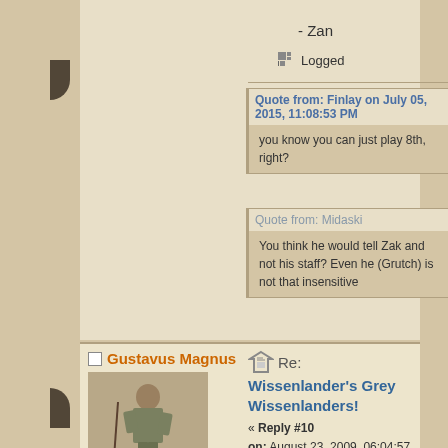- Zan
Logged
Quote from: Finlay on July 05, 2015, 11:08:53 PM
you know you can just play 8th, right?
Quote from: Midaski
You think he would tell Zak and not his staff? Even he (Grutch) is not that insensitive
Gustavus Magnus
Posts: 581
Re: Wissenlander's Grey Wissenlanders!
« Reply #10 on: August 23, 2009, 06:04:57 PM »